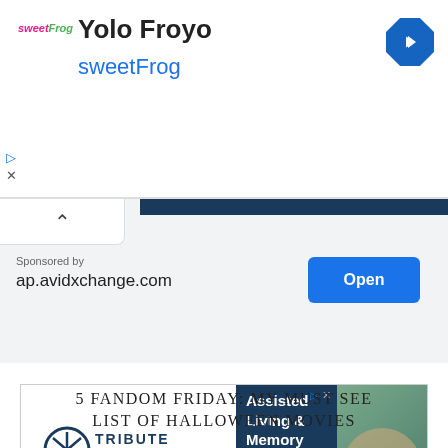[Figure (screenshot): Mobile app ad showing Yolo Froyo sweetFrog with logo, navigation arrow, play and close icons]
[Figure (screenshot): Sponsored ad panel with chevron, dark header bar, sponsored by ap.avidxchange.com text, and Open button]
[Figure (screenshot): Tribute at Melford banner ad: Assisted Living & Memory Care. Schedule a Tour with photo of elderly woman]
5 FANDOM FRIDAY: MY MUST SEE LIST OF HALLOWEEN MOVIES